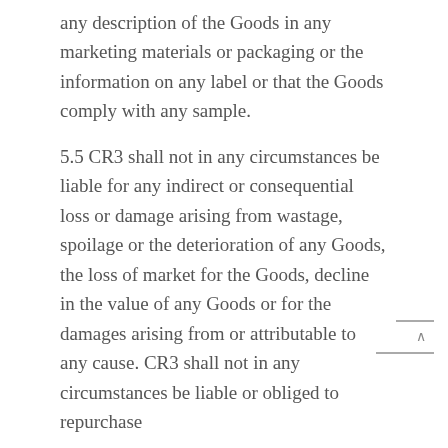any description of the Goods in any marketing materials or packaging or the information on any label or that the Goods comply with any sample.
5.5 CR3 shall not in any circumstances be liable for any indirect or consequential loss or damage arising from wastage, spoilage or the deterioration of any Goods, the loss of market for the Goods, decline in the value of any Goods or for the damages arising from or attributable to any cause. CR3 shall not in any circumstances be liable or obliged to repurchase